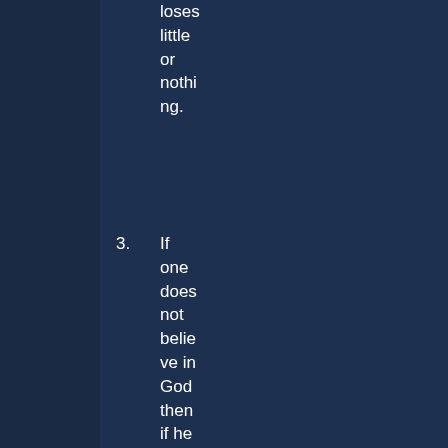loses little or nothing.
3. If one does not believe in God then if he exists then one either receives an infini